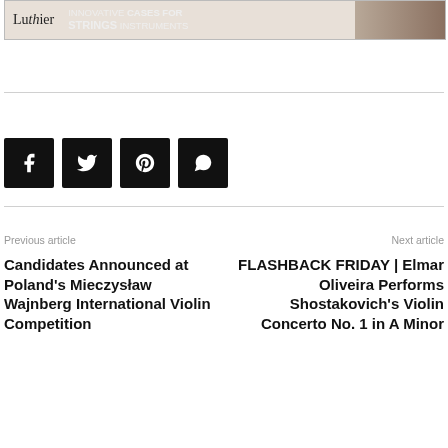[Figure (other): Advertisement banner for Luthier Cases: 'INNOVATIVE CASES FOR STRINGS INSTRUMENTS' with logo and product image]
[Figure (other): Social share icons: Facebook, Twitter, Pinterest, WhatsApp (black square buttons)]
Previous article
Candidates Announced at Poland's Mieczysław Wajnberg International Violin Competition
Next article
FLASHBACK FRIDAY | Elmar Oliveira Performs Shostakovich's Violin Concerto No. 1 in A Minor